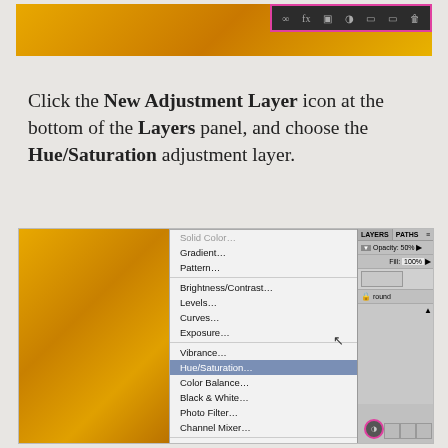[Figure (screenshot): Top portion of Photoshop layers panel toolbar with pink/magenta border highlight around icons]
Click the New Adjustment Layer icon at the bottom of the Layers panel, and choose the Hue/Saturation adjustment layer.
[Figure (screenshot): Photoshop interface showing a golden-orange textured image with an open dropdown menu listing adjustment options. Hue/Saturation is highlighted. Layers panel visible on the right showing Opacity 50% and Fill 100%. Pink circle highlights the New Adjustment Layer icon at bottom.]